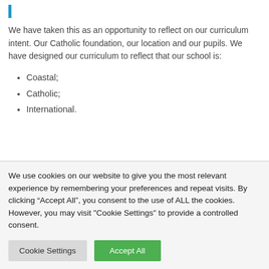We have taken this as an opportunity to reflect on our curriculum intent. Our Catholic foundation, our location and our pupils. We have designed our curriculum to reflect that our school is:
Coastal;
Catholic;
International.
We use cookies on our website to give you the most relevant experience by remembering your preferences and repeat visits. By clicking “Accept All”, you consent to the use of ALL the cookies. However, you may visit "Cookie Settings" to provide a controlled consent.